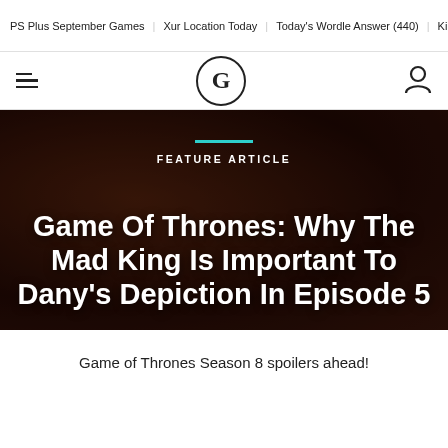PS Plus September Games | Xur Location Today | Today's Wordle Answer (440) | King's F
G (logo) navigation header with hamburger menu and user icon
[Figure (photo): Dark dramatic photo of a person in distress, used as hero background image for a Game of Thrones feature article. Overlaid text reads FEATURE ARTICLE and the article headline.]
Game Of Thrones: Why The Mad King Is Important To Dany's Depiction In Episode 5
Game of Thrones Season 8 spoilers ahead!